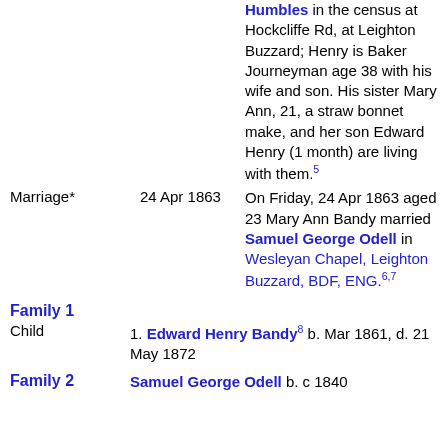Humbles in the census at Hockcliffe Rd, at Leighton Buzzard; Henry is Baker Journeyman age 38 with his wife and son. His sister Mary Ann, 21, a straw bonnet make, and her son Edward Henry (1 month) are living with them.5
Marriage* 24 Apr 1863 On Friday, 24 Apr 1863 aged 23 Mary Ann Bandy married Samuel George Odell in Wesleyan Chapel, Leighton Buzzard, BDF, ENG.6,7
Family 1
Child 1. Edward Henry Bandy8 b. Mar 1861, d. 21 May 1872
Family 2
Samuel George Odell b. c 1840